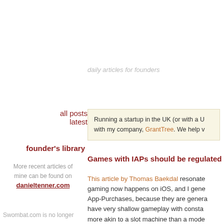daily articles for founders
all posts
latest
founder's library
More recent articles of mine can be found on danieltenner.com
Swombat.com is no longer
Running a startup in the UK (or with a U with my company, GrantTree. We help v
Games with IAPs should be regulated
This article by Thomas Baekdal resonate gaming now happens on iOS, and I gene App-Purchases, because they are genera have very shallow gameplay with consta more akin to a slot machine than a mode concerned eye as many games switch to